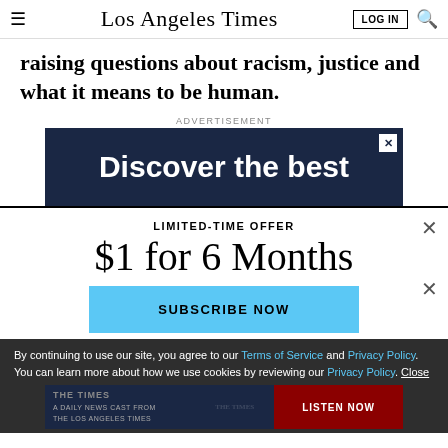Los Angeles Times | LOG IN | Search
raising questions about racism, justice and what it means to be human.
ADVERTISEMENT
[Figure (screenshot): Dark blue advertisement banner with white text reading 'Discover the best' with an X close button]
[Figure (screenshot): Paywall modal with 'LIMITED-TIME OFFER', '$1 for 6 Months', and 'SUBSCRIBE NOW' cyan button]
By continuing to use our site, you agree to our Terms of Service and Privacy Policy. You can learn more about how we use cookies by reviewing our Privacy Policy. Close
[Figure (screenshot): Podcast advertisement banner for The Times: A Daily News Podcast from the Los Angeles Times with LISTEN NOW button]